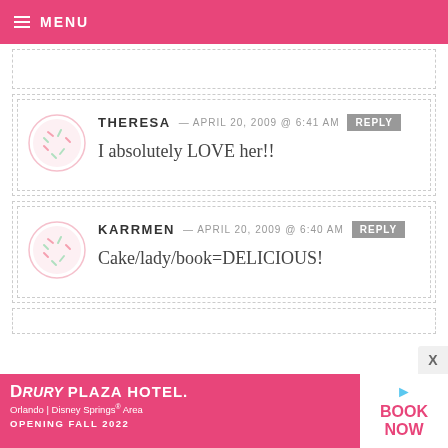MENU
THERESA — APRIL 20, 2009 @ 6:41 AM REPLY
I absolutely LOVE her!!
KARRMEN — APRIL 20, 2009 @ 6:40 AM REPLY
Cake/lady/book=DELICIOUS!
[Figure (infographic): Drury Plaza Hotel advertisement banner. Text: DRURY PLAZA HOTEL. Orlando | Disney Springs® Area. OPENING FALL 2022. BOOK NOW button.]